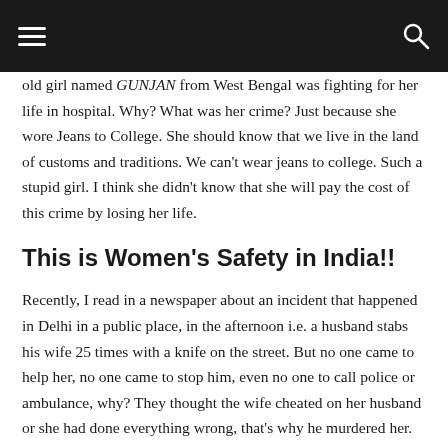[hamburger menu] [search icon]
old girl named GUNJAN from West Bengal was fighting for her life in hospital. Why? What was her crime? Just because she wore Jeans to College. She should know that we live in the land of customs and traditions. We can't wear jeans to college. Such a stupid girl. I think she didn't know that she will pay the cost of this crime by losing her life.
This is Women's Safety in India!!
Recently, I read in a newspaper about an incident that happened in Delhi in a public place, in the afternoon i.e. a husband stabs his wife 25 times with a knife on the street. But no one came to help her, no one came to stop him, even no one to call police or ambulance, why? They thought the wife cheated on her husband or she had done everything wrong, that's why he murdered her. But these people only